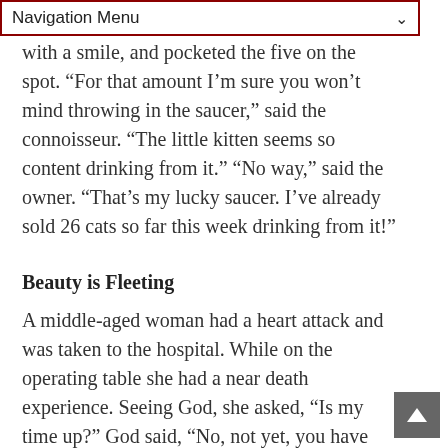Navigation Menu
with a smile, and pocketed the five on the spot. “For that amount I’m sure you won’t mind throwing in the saucer,” said the connoisseur. “The little kitten seems so content drinking from it.” “No way,” said the owner. “That’s my lucky saucer. I’ve already sold 26 cats so far this week drinking from it!”
Beauty is Fleeting
A middle-aged woman had a heart attack and was taken to the hospital. While on the operating table she had a near death experience. Seeing God, she asked, “Is my time up?” God said, “No, not yet, you have another 43 years, 2 hours and 8 days to live.” Upon recovery, the woman decided to stay in the hospital and have a face lift, liposuction, and a tummy tuck. Since she had so much more time to live, she figured she might as